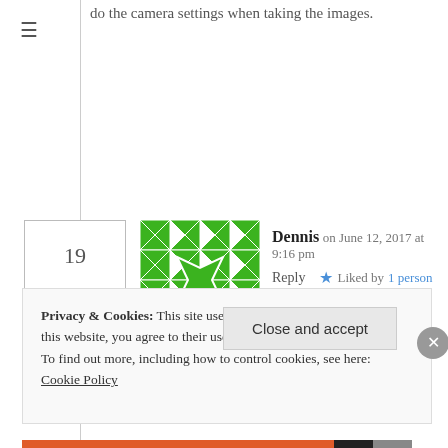do the camera settings when taking the images.
19
[Figure (illustration): Green and white geometric quilt-pattern avatar square]
Dennis on June 12, 2017 at 9:16 pm
Reply    ★ Liked by 1 person
Great article! It's so addicting once you start with it. I've been spending nights waiting for the perfect sunset colors to appear 🙂
Privacy & Cookies: This site uses cookies. By continuing to use this website, you agree to their use.
To find out more, including how to control cookies, see here: Cookie Policy
Close and accept